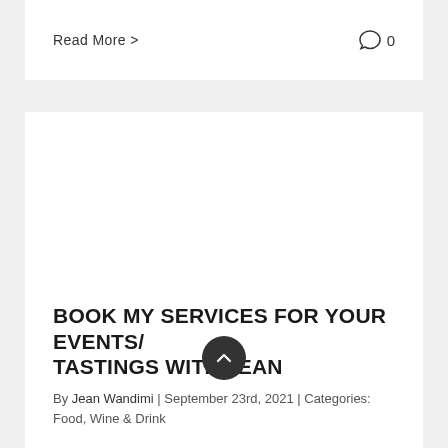Read More >
0
[Figure (photo): Large white image placeholder area for blog post]
BOOK MY SERVICES FOR YOUR EVENTS/ TASTINGS WITH JEAN
By Jean Wandimi | September 23rd, 2021 | Categories: Food, Wine & Drink